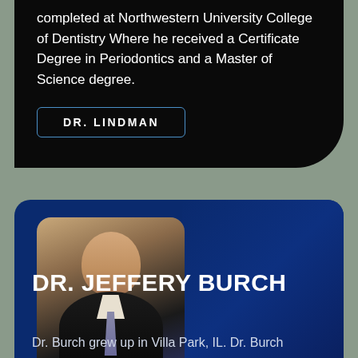completed at Northwestern University College of Dentistry Where he received a Certificate Degree in Periodontics and a Master of Science degree.
DR. LINDMAN
[Figure (photo): Professional headshot of Dr. Jeffery Burch, a man in a dark suit and tie, smiling, in a dental office setting]
DR. JEFFERY BURCH
Dr. Burch grew up in Villa Park, IL. Dr. Burch